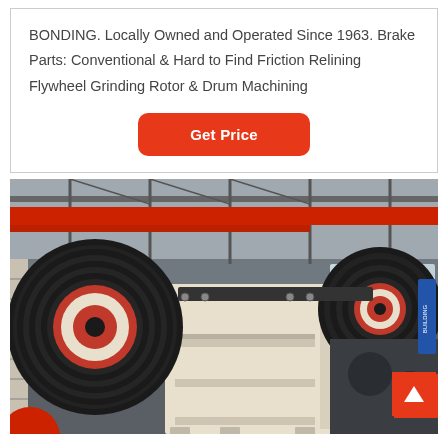BONDING. Locally Owned and Operated Since 1963. Brake Parts: Conventional & Hard to Find Friction Relining Flywheel Grinding Rotor & Drum Machining
Get Price
[Figure (photo): Industrial jaw crusher machine photographed inside a large factory/warehouse. The machine is cream/off-white colored with two large black and red flywheel pulleys visible. A red overhead crane beam is visible in the background. The factory has a steel truss roof structure.]